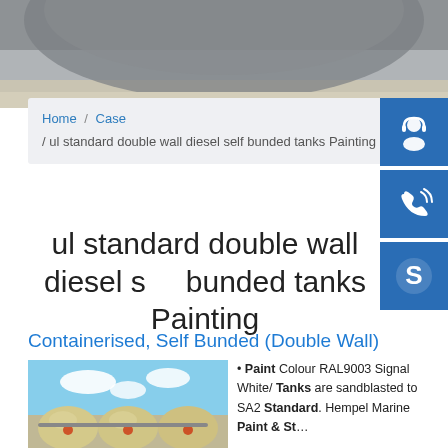[Figure (photo): Large industrial storage tanks, grey cylindrical tanks photographed from below/side showing curved top.]
Home / Case / ul standard double wall diesel self bunded tanks Painting
ul standard double wall diesel self bunded tanks Painting
Containerised, Self Bunded (Double Wall)
[Figure (photo): Containerised self bunded double wall fuel tanks, cream/beige coloured spherical tanks with red markings in outdoor setting with blue sky.]
Paint Colour RAL9003 Signal White/ Tanks are sandblasted to SA2 Standard. Hempel Marine Paint & St...